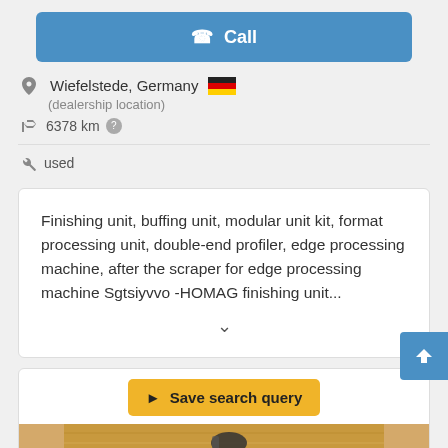Call
Wiefelstede, Germany
(dealership location)
6378 km
used
Finishing unit, buffing unit, modular unit kit, format processing unit, double-end profiler, edge processing machine, after the scraper for edge processing machine Sgtsiyvvo -HOMAG finishing unit...
Save search query